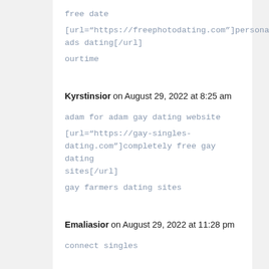free date
[url="https://freephotodating.com"]personal ads dating[/url]
ourtime
Kyrstinsior on August 29, 2022 at 8:25 am
adam for adam gay dating website
[url="https://gay-singles-dating.com"]completely free gay dating sites[/url]
gay farmers dating sites
Emaliasior on August 29, 2022 at 11:28 pm
connect singles